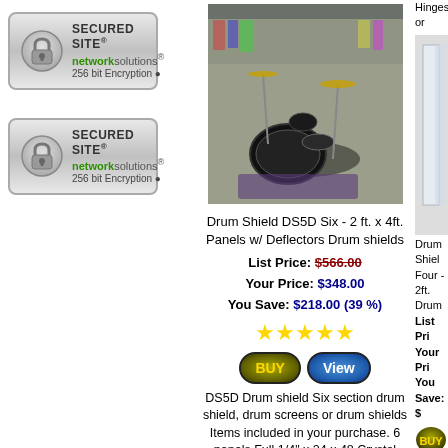[Figure (logo): Two 'Secured Site - networksolutions - 256 bit Encryption' security badges with padlock icons]
[Figure (photo): Photo of a drum kit with acrylic drum shields/panels in a music store setting]
Drum Shield DS5D Six - 2 ft. x 4ft. Panels w/ Deflectors Drum shields
List Price: $566.00
Your Price: $348.00
You Save: $218.00 (39 %)
[Figure (other): Five gold star rating icons]
[Figure (other): BUY and View oval buttons]
DS5D Drum shield Six section drum shield, drum screens or drum shields Items included in your purchase. 6 panels Full 1/4" x 24 x 48 Crystal clear acrylic & 6 deflector panels
Hinges or
[Figure (photo): Partial photo of drum shields/acrylic panels (right edge cut off)]
Drum Shiel Four - 2ft. Drum
List Pri Your Pri You Save: $
[Figure (other): Partial BUY button]
DS6-4 Drum section drum screens or Items inclu purchase. 4 x 24 x 72 acrylic, 20 B Hinges or which acri